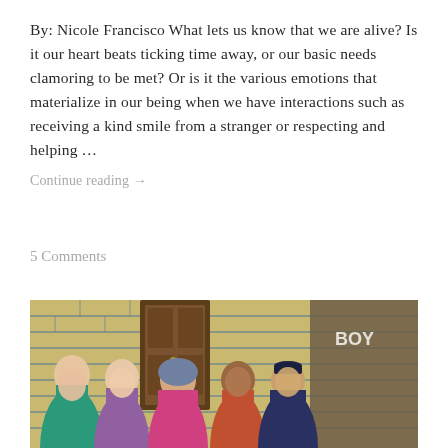By: Nicole Francisco What lets us know that we are alive? Is it our heart beats ticking time away, or our basic needs clamoring to be met? Or is it the various emotions that materialize in our being when we have interactions such as receiving a kind smile from a stranger or respecting and helping ...
Continue reading →
5 Comments
[Figure (photo): Group photo of five young people smiling, standing in front of a yellow brick wall with a wooden door. They appear to be on a community or volunteer trip.]